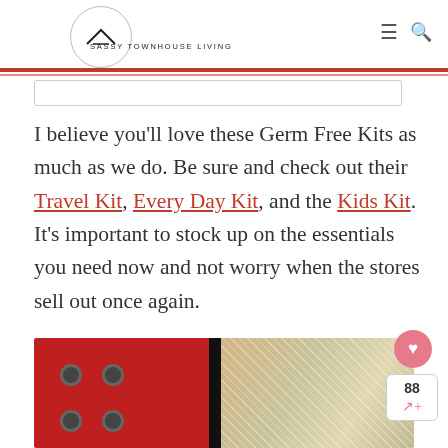SASSY TOWNHOUSE LIVING
I believe you'll love these Germ Free Kits as much as we do. Be sure and check out their Travel Kit, Every Day Kit, and the Kids Kit. It's important to stock up on the essentials you need now and not worry when the stores sell out once again.
[Figure (photo): Photo showing red padded material with metal grommets on the left, and a shimmery gold/cream fabric on the right. Social sharing widget overlaid on right side with heart icon (88 shares).]